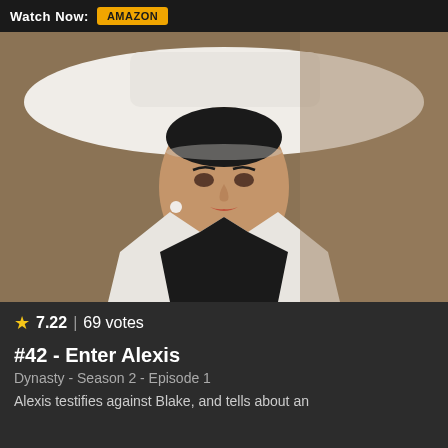Watch Now: Amazon
[Figure (photo): Woman wearing a wide-brimmed white hat and white jacket with black lapels, looking to the side with dramatic makeup. Scene from Dynasty TV show.]
★ 7.22 | 69 votes
#42 - Enter Alexis
Dynasty - Season 2 - Episode 1
Alexis testifies against Blake, and tells about an